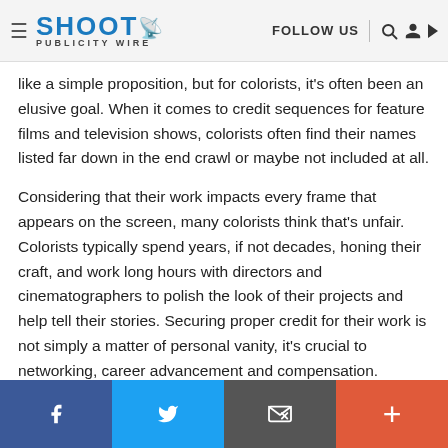SHOOT PUBLICITY WIRE | FOLLOW US
like a simple proposition, but for colorists, it's often been an elusive goal. When it comes to credit sequences for feature films and television shows, colorists often find their names listed far down in the end crawl or maybe not included at all.
Considering that their work impacts every frame that appears on the screen, many colorists think that's unfair. Colorists typically spend years, if not decades, honing their craft, and work long hours with directors and cinematographers to polish the look of their projects and help tell their stories. Securing proper credit for their work is not simply a matter of personal vanity, it's crucial to networking, career advancement and compensation.
Los Angeles-based colorist Oliver Oieil, CSI insists that
f  Twitter  Email  +